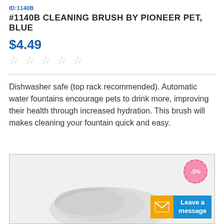ID:1140B
#1140B CLEANING BRUSH BY PIONEER PET, BLUE
$4.49
★★★★★ (empty stars rating)
Dishwasher safe (top rack recommended). Automatic water fountains encourage pets to drink more, improving their health through increased hydration. This brush will makes cleaning your fountain quick and easy.
[Figure (photo): Product photo showing a cleaning brush by Pioneer Pet. A -5% discount badge (pink circle with dashed border) appears in the top right corner. A 'Leave a message' button with orange envelope icon and blue background appears at the bottom right.]